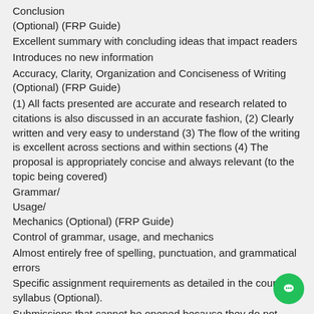Conclusion (Optional) (FRP Guide)
Excellent summary with concluding ideas that impact readers
Introduces no new information
Accuracy, Clarity, Organization and Conciseness of Writing (Optional) (FRP Guide)
(1) All facts presented are accurate and research related to citations is also discussed in an accurate fashion, (2) Clearly written and very easy to understand (3) The flow of the writing is excellent across sections and within sections (4) The proposal is appropriately concise and always relevant (to the topic being covered)
Grammar/
Usage/
Mechanics (Optional) (FRP Guide)
Control of grammar, usage, and mechanics
Almost entirely free of spelling, punctuation, and grammatical errors
Specific assignment requirements as detailed in the course syllabus (Optional).
Submissions that cannot be opened because they do not adhere to submission guidelines automatically receive zero points. Students